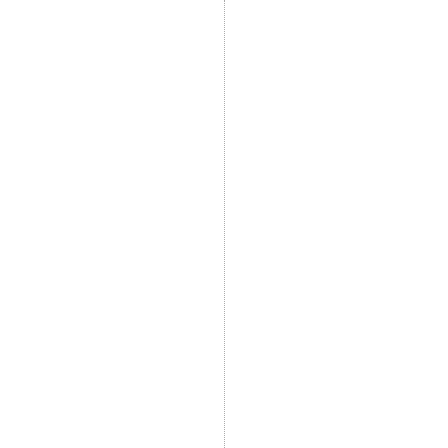ntermsofanyhealingghemaywantorn